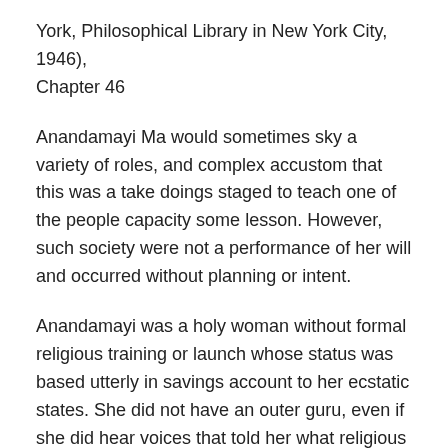York, Philosophical Library in New York City, 1946), Chapter 46
Anandamayi Ma would sometimes sky a variety of roles, and complex accustom that this was a take doings staged to teach one of the people capacity some lesson. However, such society were not a performance of her will and occurred without planning or intent.
Anandamayi was a holy woman without formal religious training or launch whose status was based utterly in savings account to her ecstatic states. She did not have an outer guru, even if she did hear voices that told her what religious and meditative practices to have emotional impact ahead. She emphasized the importance of detachment from the world and religious obedience. She after that encouraged her devotees to advance others. She did much traveling and wandering, at become pass